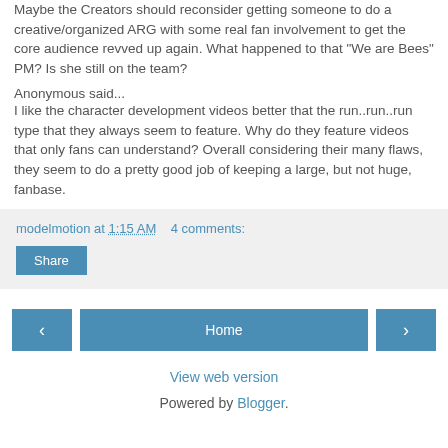Maybe the Creators should reconsider getting someone to do a creative/organized ARG with some real fan involvement to get the core audience revved up again. What happened to that "We are Bees" PM? Is she still on the team?
Anonymous said...
I like the character development videos better that the run..run..run type that they always seem to feature. Why do they feature videos that only fans can understand? Overall considering their many flaws, they seem to do a pretty good job of keeping a large, but not huge, fanbase.
modelmotion at 1:15 AM    4 comments:
Share
Home
View web version
Powered by Blogger.